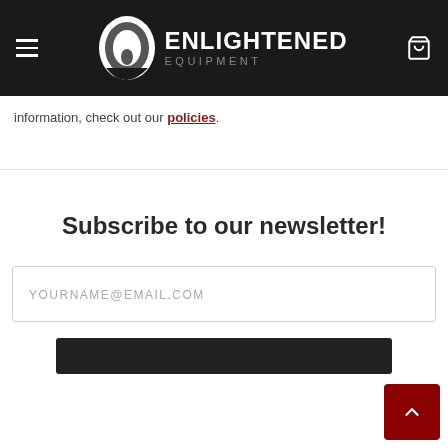Enlightened Equipment — site header with hamburger menu, logo, and cart icon
information, check out our policies.
Subscribe to our newsletter!
YOURNAME@EMAIL.COM